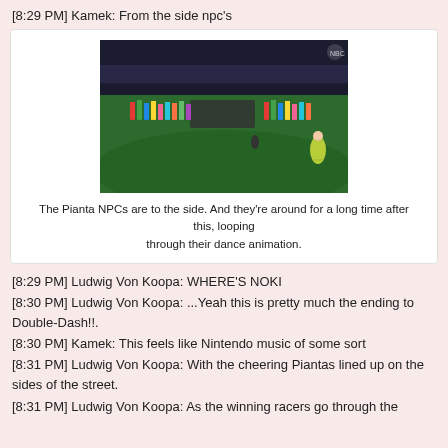[8:29 PM] Kamek: From the side npc's
[Figure (photo): Aerial view of an Olympic stadium ceremony with athletes carrying flags arranged in a circular formation on a green field, with stadium lights and crowds visible. NBC Olympics watermark in top right corner.]
The Pianta NPCs are to the side. And they're around for a long time after this, looping through their dance animation.
[8:29 PM] Ludwig Von Koopa: WHERE'S NOKI
[8:30 PM] Ludwig Von Koopa: ...Yeah this is pretty much the ending to Double-Dash!!.
[8:30 PM] Kamek: This feels like Nintendo music of some sort
[8:31 PM] Ludwig Von Koopa: With the cheering Piantas lined up on the sides of the street.
[8:31 PM] Ludwig Von Koopa: As the winning racers go through the